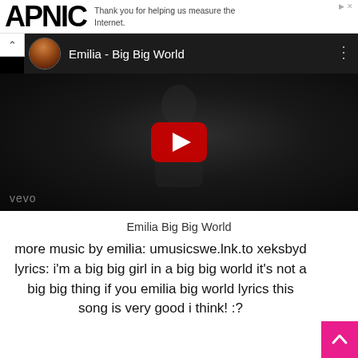APNIC — Thank you for helping us measure the Internet.
[Figure (screenshot): YouTube video embed showing 'Emilia - Big Big World' with dark thumbnail of a person wearing a hat, red YouTube play button in center, vevo watermark at bottom left, video info bar at top with circular channel thumbnail and kebab menu]
Emilia Big Big World
more music by emilia: umusicswe.lnk.to xeksbyd lyrics: i'm a big big girl in a big big world it's not a big big thing if you emilia big world lyrics this song is very good i think! :?